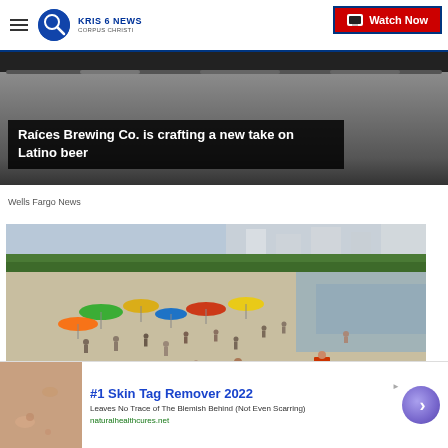KRIS 6 NEWS CORPUS CHRISTI | Watch Now
[Figure (photo): Raíces Brewing Co. dark background with hands holding beer glasses]
Raíces Brewing Co. is crafting a new take on Latino beer
Wells Fargo News
[Figure (photo): Crowded beach scene with umbrellas, people, and ocean in background with buildings]
[Figure (photo): Advertisement: #1 Skin Tag Remover 2022 - Leaves No Trace of The Blemish Behind (Not Even Scarring) - naturalhealthcures.net]